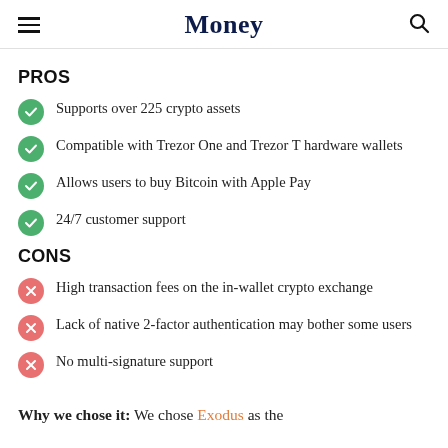Money
PROS
Supports over 225 crypto assets
Compatible with Trezor One and Trezor T hardware wallets
Allows users to buy Bitcoin with Apple Pay
24/7 customer support
CONS
High transaction fees on the in-wallet crypto exchange
Lack of native 2-factor authentication may bother some users
No multi-signature support
Why we chose it: We chose Exodus as the